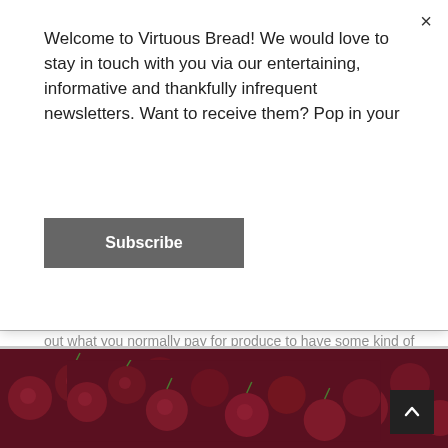Welcome to Virtuous Bread! We would love to stay in touch with you via our entertaining, informative and thankfully infrequent newsletters. Want to receive them? Pop in your
Subscribe
out what you normally pay for produce to have some kind of price check against the prices demanded.  You will probably be astonished at how much cheaper it is to buy things at the market but if the prices are higher do consider whether the goods are better quality before you engage in a debate or walk away.
[Figure (photo): Close-up photo of dark red/burgundy cherries piled together with stems visible]